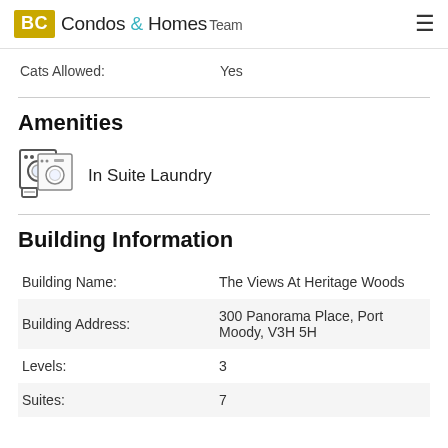BC Condos & Homes Team
Cats Allowed: Yes
Amenities
[Figure (illustration): Icon of a washer and laundry machine representing In Suite Laundry amenity]
In Suite Laundry
Building Information
| Field | Value |
| --- | --- |
| Building Name: | The Views At Heritage Woods |
| Building Address: | 300 Panorama Place, Port Moody, V3H 5H |
| Levels: | 3 |
| Suites: | 7 |